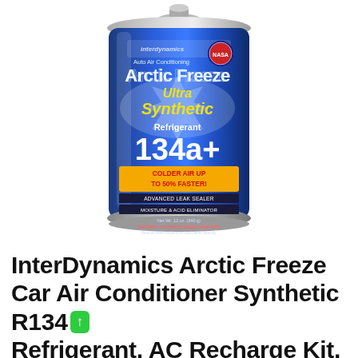[Figure (photo): A blue cylindrical aerosol can of InterDynamics Arctic Freeze Ultra Synthetic Refrigerant 134a+. The can label features NASA branding, text 'Auto Air Conditioning', 'Arctic Freeze', 'Ultra Synthetic', 'Refrigerant 134a+', an orange banner reading 'COLDER AIR UP TO 50% FASTER!', plus 'ADVANCED LEAK SEALER' and 'MOISTURE & ACID ELIMINATOR'. Net Wt. 12 oz. (340 g).]
InterDynamics Arctic Freeze Car Air Conditioner Synthetic R134a Refrigerant, AC Recharge Kit, 12